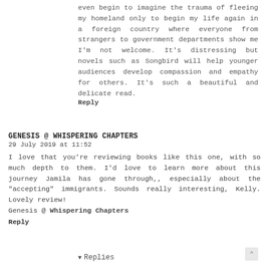even begin to imagine the trauma of fleeing my homeland only to begin my life again in a foreign country where everyone from strangers to government departments show me I'm not welcome. It's distressing but novels such as Songbird will help younger audiences develop compassion and empathy for others. It's such a beautiful and delicate read.
Reply
GENESIS @ WHISPERING CHAPTERS
29 July 2019 at 11:52
I love that you're reviewing books like this one, with so much depth to them. I'd love to learn more about this journey Jamila has gone through,, especially about the "accepting" immigrants. Sounds really interesting, Kelly. Lovely review!
Genesis @ Whispering Chapters
Reply
▼ Replies